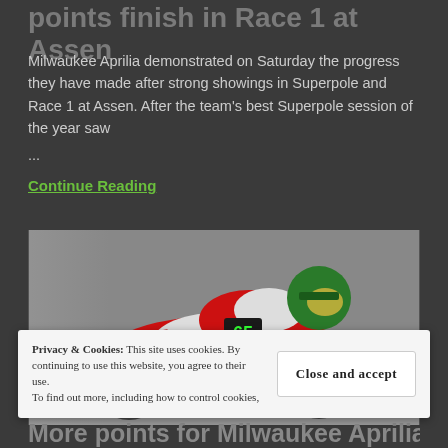points finish in Race 1 at Assen
Milwaukee Aprilia demonstrated on Saturday the progress they have made after strong showings in Superpole and Race 1 at Assen. After the team's best Superpole session of the year saw
...
Continue Reading
[Figure (photo): Motorcycle racer on a red and white Aprilia Milwaukee superbike leaning into a corner, wearing a green helmet, with Gulf and Aprilia branding visible on the bike.]
Privacy & Cookies: This site uses cookies. By continuing to use this website, you agree to their use.
To find out more, including how to control cookies,
Close and accept
More points for Milwaukee Aprilia in